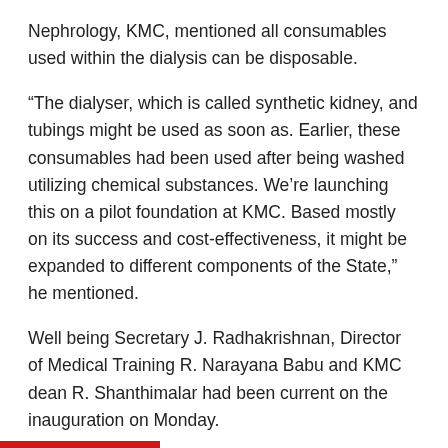Nephrology, KMC, mentioned all consumables used within the dialysis can be disposable.
“The dialyser, which is called synthetic kidney, and tubings might be used as soon as. Earlier, these consumables had been used after being washed utilizing chemical substances. We’re launching this on a pilot foundation at KMC. Based mostly on its success and cost-effectiveness, it might be expanded to different components of the State,” he mentioned.
Well being Secretary J. Radhakrishnan, Director of Medical Training R. Narayana Babu and KMC dean R. Shanthimalar had been current on the inauguration on Monday.
— to www.thehindu.com